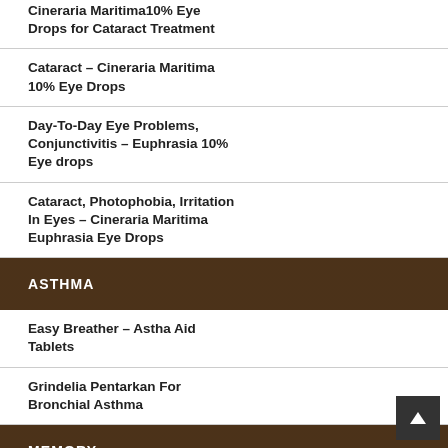Cineraria Maritima10% Eye Drops for Cataract Treatment
Cataract – Cineraria Maritima 10% Eye Drops
Day-To-Day Eye Problems, Conjunctivitis – Euphrasia 10% Eye drops
Cataract, Photophobia, Irritation In Eyes – Cineraria Maritima Euphrasia Eye Drops
ASTHMA
Easy Breather – Astha Aid Tablets
Grindelia Pentarkan For Bronchial Asthma
MEMORY
Ginkgo biloba 1X For Insufficient Cerebral Circulation
Brain Tonic To Improve Memory